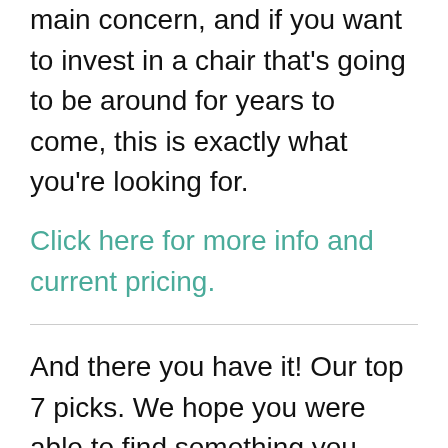main concern, and if you want to invest in a chair that's going to be around for years to come, this is exactly what you're looking for.
Click here for more info and current pricing.
And there you have it! Our top 7 picks. We hope you were able to find something you liked on our list. Happy gliding!